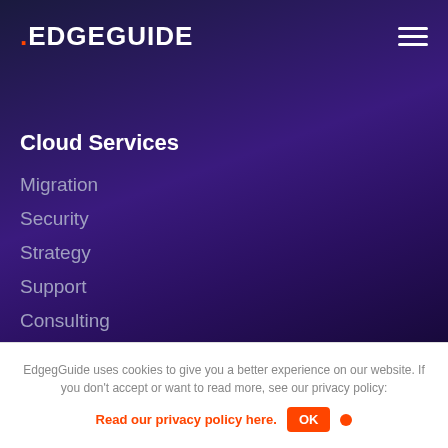.EDGEGUIDE
Cloud Services
Migration
Security
Strategy
Support
Consulting
Application Development
EdgegGuide uses cookies to give you a better experience on our website. If you don't accept or want to read more, see our privacy policy:
Read our privacy policy here.  OK